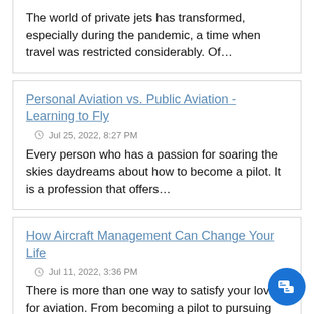The world of private jets has transformed, especially during the pandemic, a time when travel was restricted considerably. Of…
Personal Aviation vs. Public Aviation - Learning to Fly
Jul 25, 2022, 8:27 PM
Every person who has a passion for soaring the skies daydreams about how to become a pilot. It is a profession that offers…
How Aircraft Management Can Change Your Life
Jul 11, 2022, 3:36 PM
There is more than one way to satisfy your love for aviation. From becoming a pilot to pursuing aircraft management…